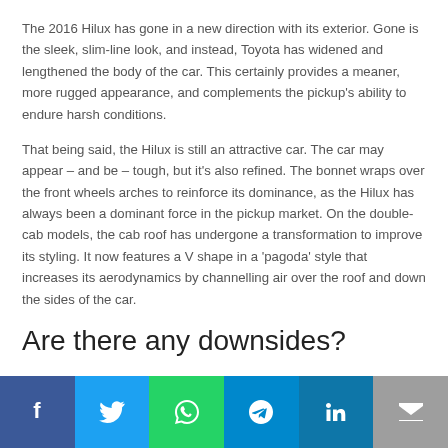The 2016 Hilux has gone in a new direction with its exterior. Gone is the sleek, slim-line look, and instead, Toyota has widened and lengthened the body of the car. This certainly provides a meaner, more rugged appearance, and complements the pickup's ability to endure harsh conditions.
That being said, the Hilux is still an attractive car. The car may appear – and be – tough, but it's also refined. The bonnet wraps over the front wheels arches to reinforce its dominance, as the Hilux has always been a dominant force in the pickup market. On the double-cab models, the cab roof has undergone a transformation to improve its styling. It now features a V shape in a 'pagoda' style that increases its aerodynamics by channelling air over the roof and down the sides of the car.
Are there any downsides?
[Figure (other): Social media sharing bar with icons for Facebook, Twitter, WhatsApp, Telegram, LinkedIn, and Email]